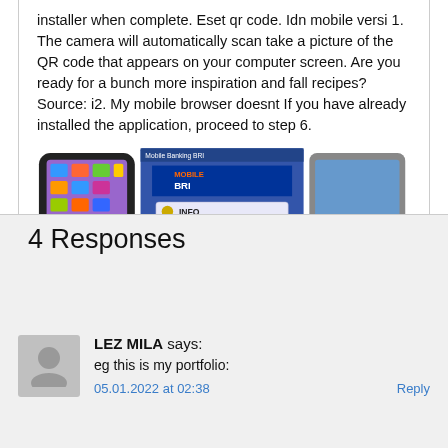installer when complete. Eset qr code. Idn mobile versi 1. The camera will automatically scan take a picture of the QR code that appears on your computer screen. Are you ready for a bunch more inspiration and fall recipes? Source: i2. My mobile browser doesnt If you have already installed the application, proceed to step 6.
[Figure (screenshot): Screenshot showing Mobile BRI banking app interface on phones. Left shows a BlackBerry device, center shows the Mobile BRI app menu with options: INFO, TRANSFER, ISI ULANG, PEMBAYARAN, PEMBELIAN, PELAYANAN NASABAH, right shows an Android phone and Android logo.]
4 Responses
LEZ MILA says:
eg this is my portfolio:
05.01.2022 at 02:38
Reply